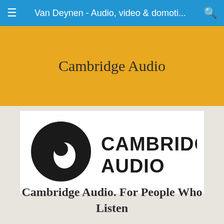Van Deynen - Audio, video & domoti...
Cambridge Audio
[Figure (logo): Cambridge Audio logo: large black circle with white teardrop/eye shape inside, next to bold black text reading CAMBRIDGE AUDIO in two lines]
Cambridge Audio. For People Who Listen